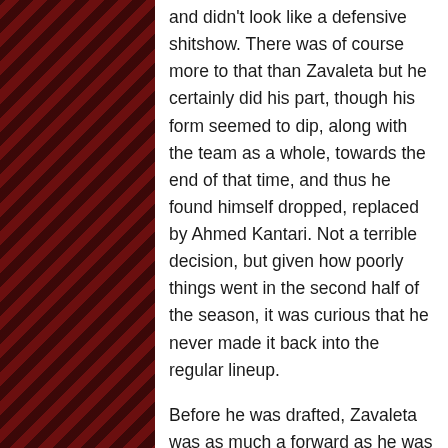and didn't look like a defensive shitshow. There was of course more to that than Zavaleta but he certainly did his part, though his form seemed to dip, along with the team as a whole, towards the end of that time, and thus he found himself dropped, replaced by Ahmed Kantari. Not a terrible decision, but given how poorly things went in the second half of the season, it was curious that he never made it back into the regular lineup.

Before he was drafted, Zavaleta was as much a forward as he was a defender and he showed off his